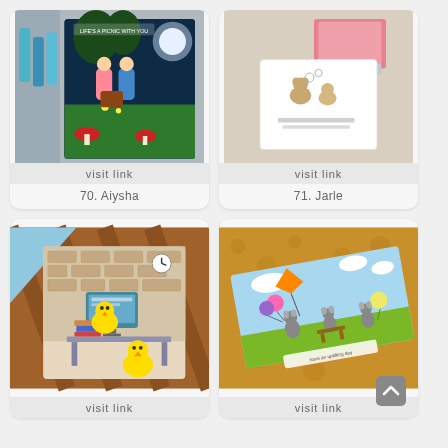[Figure (photo): Greeting card with two children at a picnic scene under moonlight with mushrooms, text reads LIFE'S A PICNIC WITH YOU, surrounded by art markers]
visit link
70. Aiysha
[Figure (photo): Small greeting card with cartoon dogs/animals on a desk/table with pink box in background]
visit link
71. Jarle
[Figure (photo): Greeting card showing a chick sitting at a desk with computer, books, brick wall background with clock]
visit link
[Figure (photo): Bookmark/card on cork board showing mice with balloons and kite in park scene, text have an uplifting day]
visit link